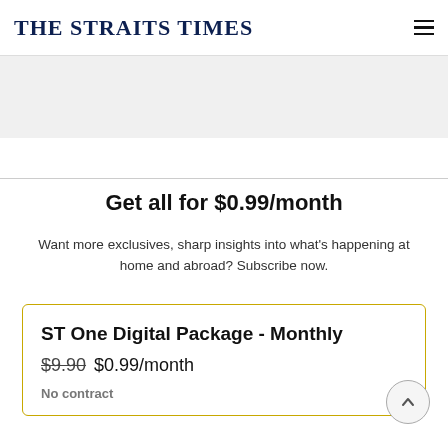THE STRAITS TIMES
[Figure (other): Gray advertisement banner placeholder]
Get all for $0.99/month
Want more exclusives, sharp insights into what's happening at home and abroad? Subscribe now.
ST One Digital Package - Monthly
$9.90 $0.99/month
No contract